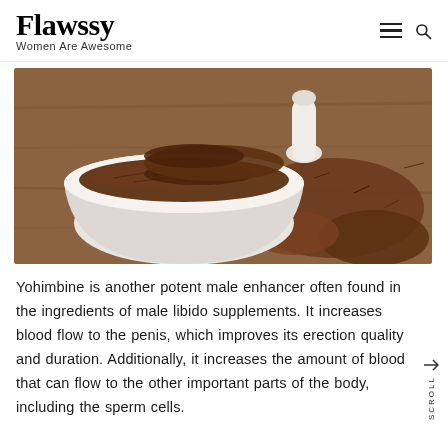Flawssy — Women Are Awesome
[Figure (photo): A white mortar and pestle filled with dried brown herbal material (yohimbe bark), with more dried herbs scattered on a wooden surface beside it.]
Yohimbine is another potent male enhancer often found in the ingredients of male libido supplements. It increases blood flow to the penis, which improves its erection quality and duration. Additionally, it increases the amount of blood that can flow to the other important parts of the body, including the sperm cells.